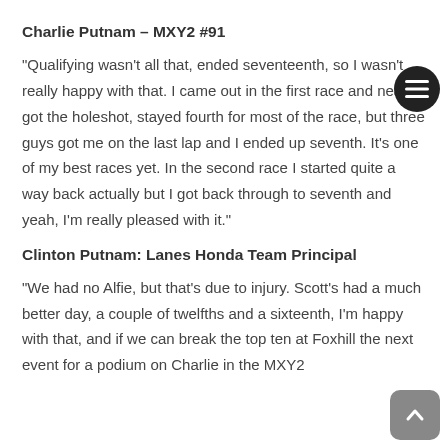Charlie Putnam – MXY2 #91
“Qualifying wasn’t all that, ended seventeenth, so I wasn’t really happy with that. I came out in the first race and nearly got the holeshot, stayed fourth for most of the race, but three guys got me on the last lap and I ended up seventh. It’s one of my best races yet. In the second race I started quite a way back actually but I got back through to seventh and yeah, I’m really pleased with it.”
Clinton Putnam: Lanes Honda Team Principal
“We had no Alfie, but that’s due to injury. Scott’s had a much better day, a couple of twelfths and a sixteenth, I’m happy with that, and if we can break the top ten at Foxhill the next event for a podium on Charlie in the MXY2